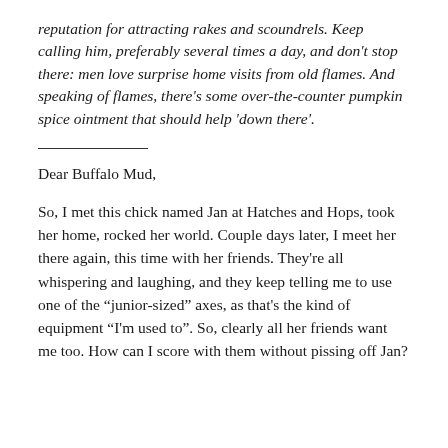reputation for attracting rakes and scoundrels. Keep calling him, preferably several times a day, and don't stop there: men love surprise home visits from old flames. And speaking of flames, there's some over-the-counter pumpkin spice ointment that should help 'down there'.
Dear Buffalo Mud,
So, I met this chick named Jan at Hatches and Hops, took her home, rocked her world. Couple days later, I meet her there again, this time with her friends. They're all whispering and laughing, and they keep telling me to use one of the "junior-sized" axes, as that's the kind of equipment "I'm used to". So, clearly all her friends want me too. How can I score with them without pissing off Jan?